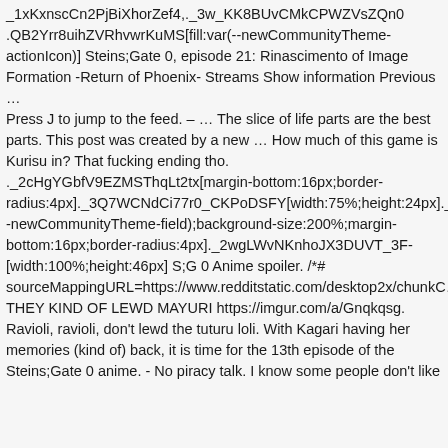_1xKxnscCn2PjBiXhorZef4,._3w_KK8BUvCMkCPWZVsZQn0.QB2Yrr8uihZVRhvwrKuMS[fill:var(--newCommunityTheme-actionIcon)] Steins;Gate 0, episode 21: Rinascimento of Image Formation -Return of Phoenix- Streams Show information Previous … Press J to jump to the feed. – … The slice of life parts are the best parts. This post was created by a new … How much of this game is Kurisu in? That fucking ending tho. ._2cHgYGbfV9EZMSThqLt2tx[margin-bottom:16px;border-radius:4px]._3Q7WCNdCi77r0_CKPoDSFY[width:75%;height:24px]._2wg-newCommunityTheme-field);background-size:200%;margin-bottom:16px;border-radius:4px]._2wgLWvNKnhoJX3DUVT_3F-[width:100%;height:46px] S;G 0 Anime spoiler. /*# sourceMappingURL=https://www.redditstatic.com/desktop2x/chunkC… THEY KIND OF LEWD MAYURI https://imgur.com/a/Gnqkqsg. Ravioli, ravioli, don't lewd the tuturu loli. With Kagari having her memories (kind of) back, it is time for the 13th episode of the Steins;Gate 0 anime. - No piracy talk. I know some people don't like